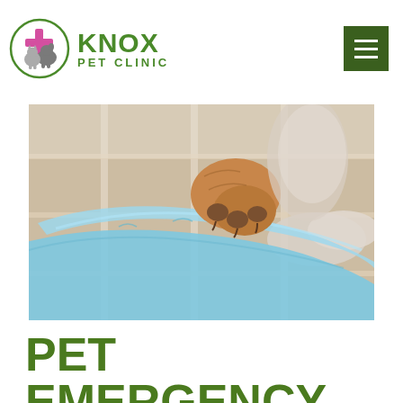[Figure (logo): Knox Pet Clinic logo: circular emblem with cat and dog silhouettes and a pink cross, beside green text reading KNOX PET CLINIC]
[Figure (photo): Close-up photo of a veterinarian wearing a blue latex glove holding a dog's brown paw, with a blurred clinic background]
PET EMERGENCY